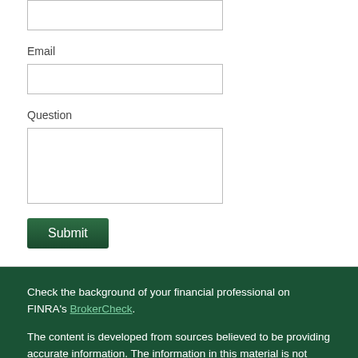Email
Question
Submit
Check the background of your financial professional on FINRA's BrokerCheck.
The content is developed from sources believed to be providing accurate information. The information in this material is not